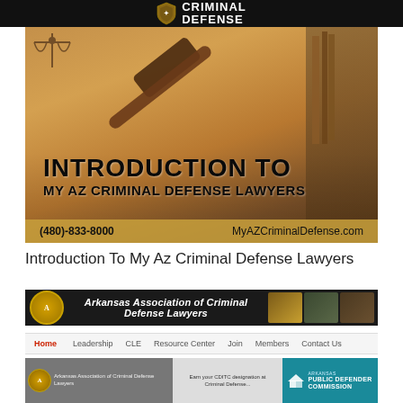[Figure (screenshot): Website header with black background showing MY AZ Criminal Defense Lawyers logo with shield icon]
[Figure (photo): Hero image of a judge's gavel on a desk with law books in background, warm golden/brown tones, text overlay reading INTRODUCTION TO MY AZ CRIMINAL DEFENSE LAWYERS with phone (480)-833-8000 and website MyAZCriminalDefense.com]
Introduction To My Az Criminal Defense Lawyers
[Figure (screenshot): Website banner for Arkansas Association of Criminal Defense Lawyers with circular logo on left, text in center, and photo strip on right]
[Figure (screenshot): Website navigation bar with Home (active/red), Leadership, CLE, Resource Center, Join, Members, Contact Us]
[Figure (screenshot): Bottom portion of Arkansas Association of Criminal Defense Lawyers website showing logo, Earn your CDITC designation text box, and PUBLIC DEFENDER COMMISSION section in teal]